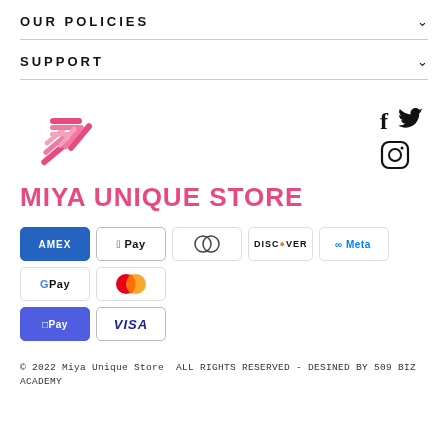OUR POLICIES
SUPPORT
[Figure (logo): Miya Unique Store logo with geometric pink/rose striped triangular emblem above text 'MIYA UNIQUE STORE' in pink]
[Figure (infographic): Social media icons: Facebook (f), Twitter bird, Instagram camera]
[Figure (infographic): Payment method badges: AMEX, Apple Pay, Diners Club, Discover, Meta Pay, Google Pay, Mastercard, OPay, VISA]
© 2022 Miya Unique Store  ALL RIGHTS RESERVED - DESINED BY 509 BIZ ACADEMY